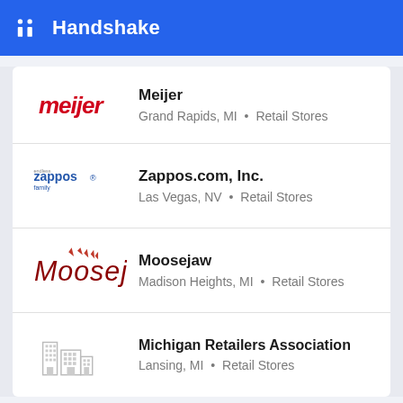Handshake
Meijer
Grand Rapids, MI • Retail Stores
Zappos.com, Inc.
Las Vegas, NV • Retail Stores
Moosejaw
Madison Heights, MI • Retail Stores
Michigan Retailers Association
Lansing, MI • Retail Stores